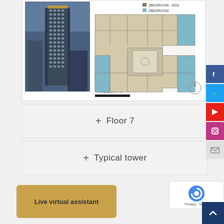[Figure (schematic): Floor 4 panel showing a tall residential tower building photo on the left and a floor plan diagram with colored units (blue for 2-bedroom, tan/beige for 2-bedroom den) on the right. Label 'FLOOR 4' visible at the bottom.]
+ Floor 7
+ Typical tower
Live virtual assistant